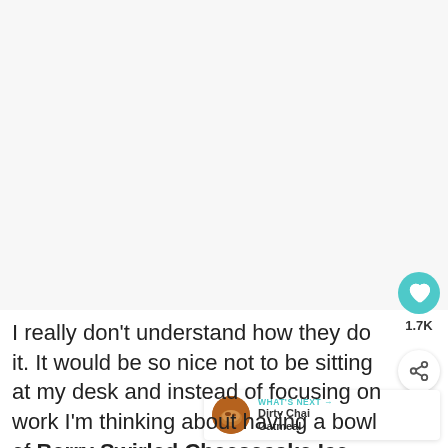[Figure (other): Blank light gray image/photo area at top of page, content not visible]
I really don't understand how they do it. It would be so nice not to be sitting at my desk and instead of focusing on work I'm thinking about having a bowl of Berry Swirled Cheesecake Ice Cream, a piece
[Figure (other): Heart/save button with teal background showing 1.7K count, share button below, and a 'WHAT'S NEXT' preview widget showing Dirty Chai Oatmeal with food thumbnail]